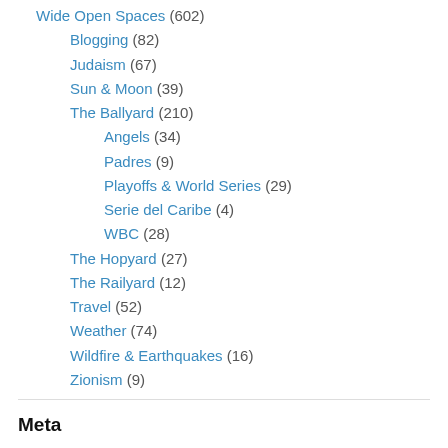Wide Open Spaces (602)
Blogging (82)
Judaism (67)
Sun & Moon (39)
The Ballyard (210)
Angels (34)
Padres (9)
Playoffs & World Series (29)
Serie del Caribe (4)
WBC (28)
The Hopyard (27)
The Railyard (12)
Travel (52)
Weather (74)
Wildfire & Earthquakes (16)
Zionism (9)
Meta
Register